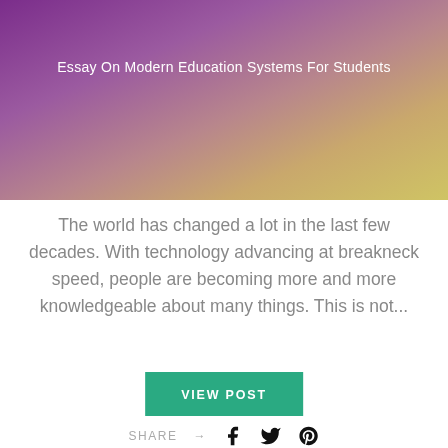[Figure (illustration): Hero banner with gradient background from purple on the left to olive/yellow-green on the right, containing the title text 'Essay On Modern Education Systems For Students' in white]
Essay On Modern Education Systems For Students
The world has changed a lot in the last few decades. With technology advancing at breakneck speed, people are becoming more and more knowledgeable about many things. This is not...
VIEW POST
SHARE → [Facebook icon] [Twitter icon] [Pinterest icon]
NFL playoff